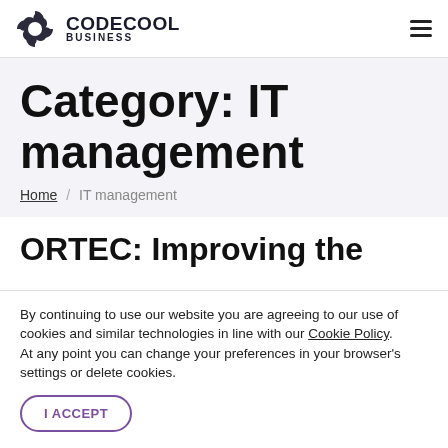CODECOOL BUSINESS
Category: IT management
Home / IT management
ORTEC: Improving the
By continuing to use our website you are agreeing to our use of cookies and similar technologies in line with our Cookie Policy.
At any point you can change your preferences in your browser's settings or delete cookies.
I ACCEPT